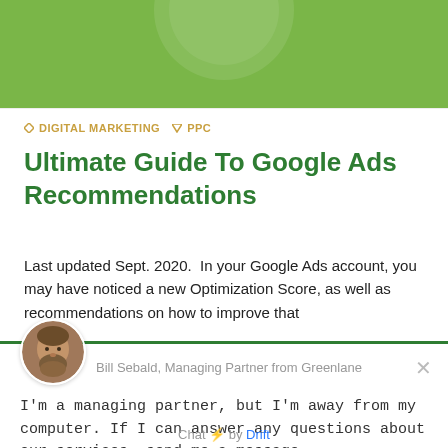[Figure (photo): Green banner background at top of page with partial circular logo/image visible]
◇ DIGITAL MARKETING ▽ PPC
Ultimate Guide To Google Ads Recommendations
Last updated Sept. 2020.  In your Google Ads account, you may have noticed a new Optimization Score, as well as recommendations on how to improve that
[Figure (screenshot): Drift chat widget overlay showing Bill Sebald Managing Partner from Greenlane with avatar photo, message text, and email form CTA button]
Bill Sebald, Managing Partner from Greenlane
I'm a managing partner, but I'm away from my computer. If I can answer any questions about our services, send me a message.
Click To Visit Our Email Form
Chat ⚡ by Drift